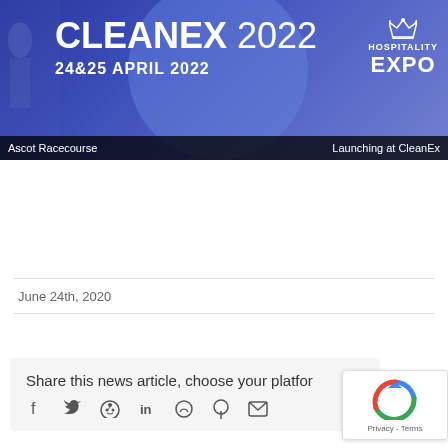[Figure (infographic): CLEANEX 2022 banner ad with text: CLEANEX 2022, 24&25 APRIL 2022, Ascot Racecourse, Launching at CleanEx, Hospitality EXPO. Blue gradient background with circular overlay and industrial imagery.]
June 24th, 2020
Share this news article, choose your platform